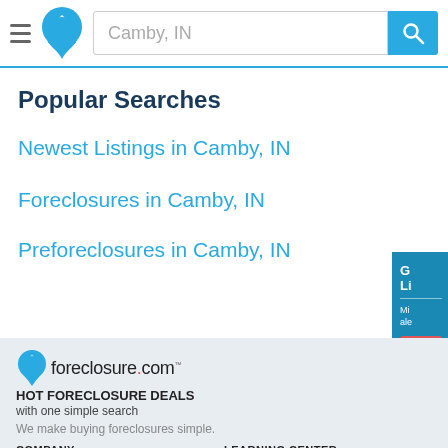Camby, IN [search bar] foreclosure.com header
Popular Searches
Newest Listings in Camby, IN
Foreclosures in Camby, IN
Preforeclosures in Camby, IN
[Figure (logo): foreclosure.com logo with home map-pin icon, HOT FORECLOSURE DEALS with one simple search, We make buying foreclosures simple.]
We make buying foreclosures simple.
COMPANY
LEARNING CENTER
About Us
Scholarship Program